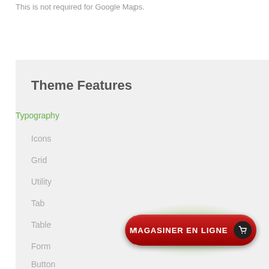This is not required for Google Maps.
Theme Features
Typography
Icons
Grid
Utility
Tab
Table
Form
Button
[Figure (illustration): A red pill-shaped button labeled MAGASINER EN LIGNE with a cart icon, surrounded by a green glow effect]